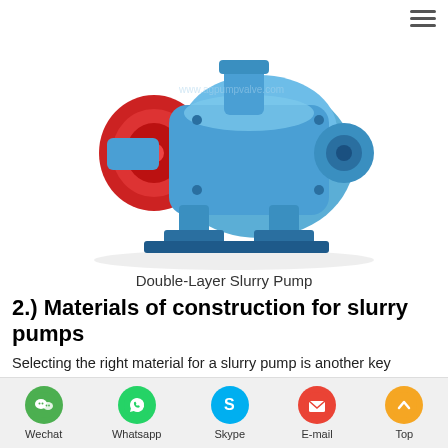[Figure (photo): Blue Double-Layer Slurry Pump industrial pump product photo, viewed from the side at an angle, with a red impeller cover visible on the left side.]
Double-Layer Slurry Pump
2.) Materials of construction for slurry pumps
Selecting the right material for a slurry pump is another key process in determining the right pump to handle the slurry. If the slurry is highly abrasive with a neutral pH, then the best material of construction is high chromium. This metallurgy has the highest Brinell hardness and can withstand the abrasiveness of the slurry. If, on the other hand, the slurry is not only abrasive but also has a low
Wechat  Whatsapp  Skype  E-mail  Top